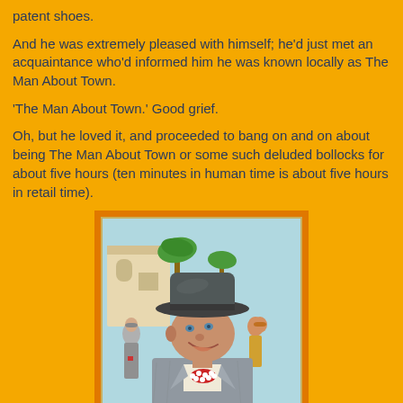patent shoes.
And he was extremely pleased with himself; he'd just met an acquaintance who'd informed him he was known locally as The Man About Town.
'The Man About Town.' Good grief.
Oh, but he loved it, and proceeded to bang on and on about being The Man About Town or some such deluded bollocks for about five hours (ten minutes in human time is about five hours in retail time).
[Figure (illustration): Vintage illustration of a smiling man in a grey fedora hat and red polka-dot bow tie, with a crowd of well-dressed people in the background near palm trees and a building.]